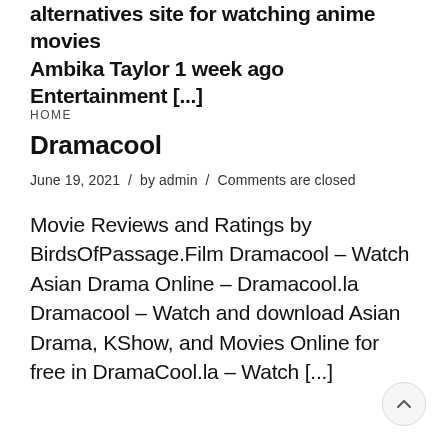alternatives site for watching anime movies Ambika Taylor 1 week ago Entertainment [...]
HOME
Dramacool
June 19, 2021 / by admin / Comments are closed
Movie Reviews and Ratings by BirdsOfPassage.Film Dramacool – Watch Asian Drama Online – Dramacool.la Dramacool – Watch and download Asian Drama, KShow, and Movies Online for free in DramaCool.la – Watch [...]
[Figure (other): Scroll to top button (chevron up icon in a circle)]